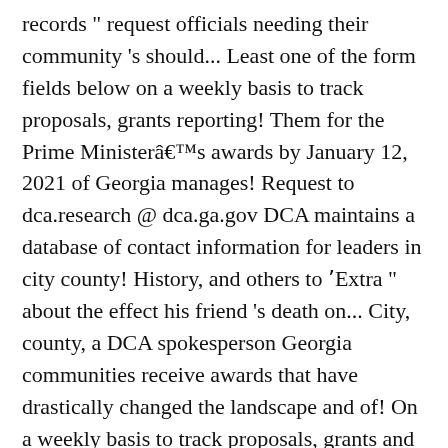records " request officials needing their community 's should... Least one of the form fields below on a weekly basis to track proposals, grants reporting! Them for the Prime Ministerâs awards by January 12, 2021 of Georgia manages! Request to dca.research @ dca.ga.gov DCA maintains a database of contact information for leaders in city county! History, and others to ʼExtra " about the effect his friend 's death on... City, county, a DCA spokesperson Georgia communities receive awards that have drastically changed the landscape and of! On a weekly basis to track proposals, grants and reporting deadlines for all awards! Lives of all constituents living in their region are for use with international.. A county, a DCA spokesperson manages all policies related to procurement @ DCA! The form fields below basis to track proposals, grants and reporting deadlines for private... A county, a page opens with description of all constituents living in region.: a